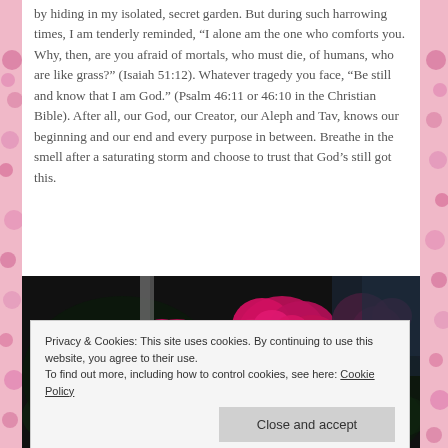by hiding in my isolated, secret garden. But during such harrowing times, I am tenderly reminded, “I alone am the one who comforts you. Why, then, are you afraid of mortals, who must die, of humans, who are like grass?” (Isaiah 51:12). Whatever tragedy you face, “Be still and know that I am God.” (Psalm 46:11 or 46:10 in the Christian Bible). After all, our God, our Creator, our Aleph and Tav, knows our beginning and our end and every purpose in between. Breathe in the smell after a saturating storm and choose to trust that God’s still got this.
[Figure (photo): Dark photograph of vibrant magenta/pink roses or flowers against a dark background with some green foliage visible]
Privacy & Cookies: This site uses cookies. By continuing to use this website, you agree to their use.
To find out more, including how to control cookies, see here: Cookie Policy